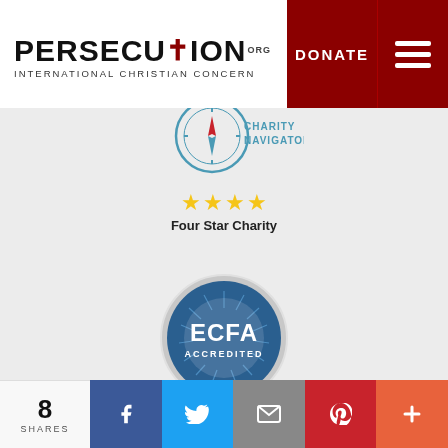[Figure (logo): Persecution.org / International Christian Concern logo with red cross]
[Figure (logo): DONATE button and hamburger menu in dark red]
[Figure (logo): Charity Navigator four star charity badge with compass icon]
[Figure (logo): ECFA Accredited circular blue badge]
[Figure (infographic): Social share bar: 8 Shares, Facebook, Twitter, Email, Pinterest, Plus buttons]